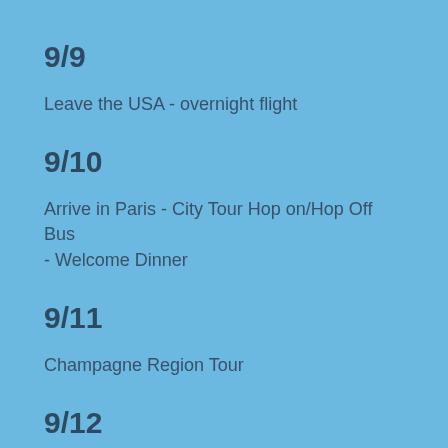9/9
Leave the USA - overnight flight
9/10
Arrive in Paris - City Tour Hop on/Hop Off Bus - Welcome Dinner
9/11
Champagne Region Tour
9/12
Museum Day